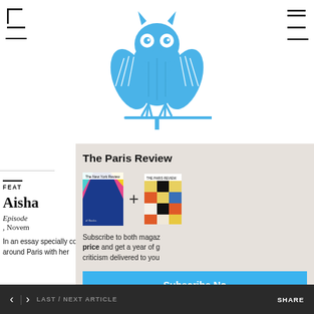[Figure (logo): The Paris Review blue owl logo illustration, owl with spread wings perched on a branch]
[Figure (illustration): Subscription promotional overlay showing New York Review of Books cover plus The Paris Review cover with subscribe button]
FEAT
Aisha
Episode
, November
In an essay specially commissioned for the podcast, Aisha Sabatini Sloan describes rambling around Paris with her
< > LAST / NEXT ARTICLE    SHARE